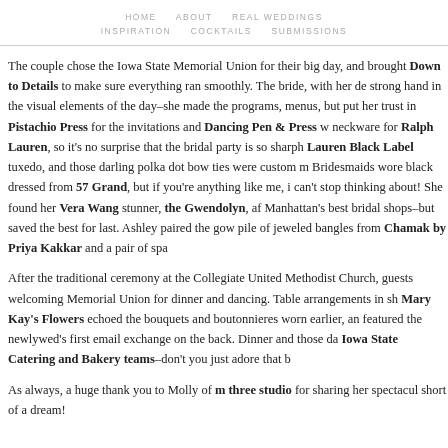HOME   ABOUT   REAL WEDDINGS
INSPIRATION   COCKTAILS   SUBMISSIONS
The couple chose the Iowa State Memorial Union for their big day, and brought Down to Details to make sure everything ran smoothly. The bride, with her de strong hand in the visual elements of the day–she made the programs, menus, but put her trust in Pistachio Press for the invitations and Dancing Pen & Press w neckware for Ralph Lauren, so it's no surprise that the bridal party is so sharph Lauren Black Label tuxedo, and those darling polka dot bow ties were custom m Bridesmaids wore black dressed from 57 Grand, but if you're anything like me, i can't stop thinking about! She found her Vera Wang stunner, the Gwendolyn, af Manhattan's best bridal shops–but saved the best for last. Ashley paired the gow pile of jeweled bangles from Chamak by Priya Kakkar and a pair of spa
After the traditional ceremony at the Collegiate United Methodist Church, guests welcoming Memorial Union for dinner and dancing. Table arrangements in sh Mary Kay's Flowers echoed the bouquets and boutonnieres worn earlier, an featured the newlywed's first email exchange on the back. Dinner and those da Iowa State Catering and Bakery teams–don't you just adore that b
As always, a huge thank you to Molly of m three studio for sharing her spectacul short of a dream!